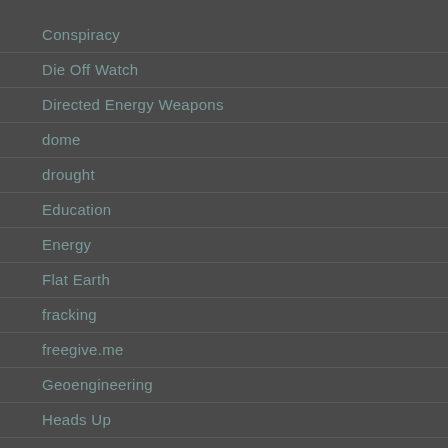Conspiracy
Die Off Watch
Directed Energy Weapons
dome
drought
Education
Energy
Flat Earth
fracking
freegive.me
Geoengineering
Heads Up
Health
hemp oil